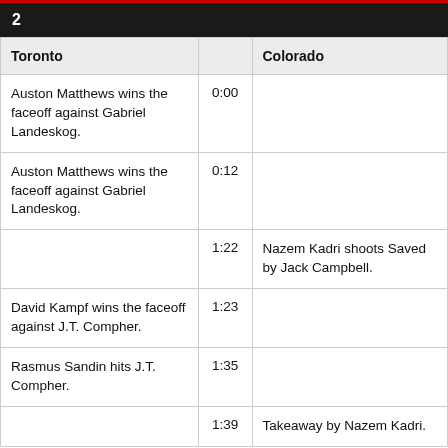2
| Toronto |  | Colorado |
| --- | --- | --- |
| Auston Matthews wins the faceoff against Gabriel Landeskog. | 0:00 |  |
| Auston Matthews wins the faceoff against Gabriel Landeskog. | 0:12 |  |
|  | 1:22 | Nazem Kadri shoots Saved by Jack Campbell. |
| David Kampf wins the faceoff against J.T. Compher. | 1:23 |  |
| Rasmus Sandin hits J.T. Compher. | 1:35 |  |
|  | 1:39 | Takeaway by Nazem Kadri. |